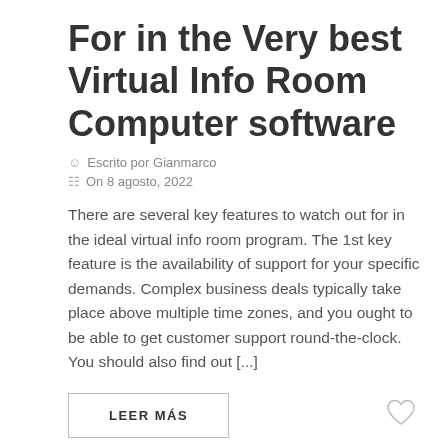For in the Very best Virtual Info Room Computer software
Escrito por Gianmarco
On 8 agosto, 2022
There are several key features to watch out for in the ideal virtual info room program. The 1st key feature is the availability of support for your specific demands. Complex business deals typically take place above multiple time zones, and you ought to be able to get customer support round-the-clock. You should also find out [...]
LEER MÁS